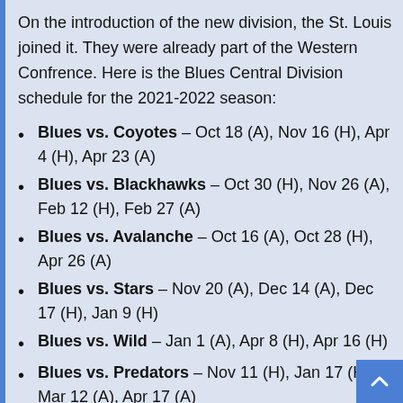On the introduction of the new division, the St. Louis joined it. They were already part of the Western Confrence. Here is the Blues Central Division schedule for the 2021-2022 season:
Blues vs. Coyotes – Oct 18 (A), Nov 16 (H), Apr 4 (H), Apr 23 (A)
Blues vs. Blackhawks – Oct 30 (H), Nov 26 (A), Feb 12 (H), Feb 27 (A)
Blues vs. Avalanche – Oct 16 (A), Oct 28 (H), Apr 26 (A)
Blues vs. Stars – Nov 20 (A), Dec 14 (A), Dec 17 (H), Jan 9 (H)
Blues vs. Wild – Jan 1 (A), Apr 8 (H), Apr 16 (H)
Blues vs. Predators – Nov 11 (H), Jan 17 (H), Mar 12 (A), Apr 17 (A)
Blues vs. Jets – Nov 9 (A), Dec 19 (A), Jan 29 (H),